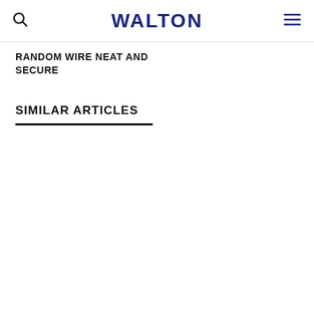WALTON
RANDOM WIRE NEAT AND SECURE
SIMILAR ARTICLES